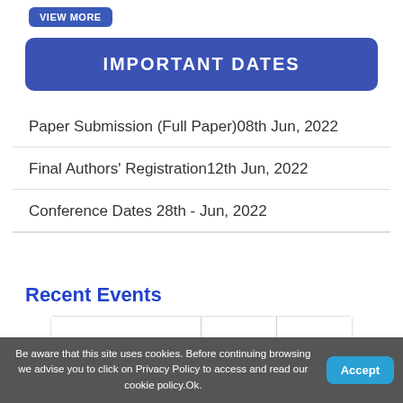VIEW MORE
IMPORTANT DATES
Paper Submission (Full Paper)08th Jun, 2022
Final Authors' Registration12th Jun, 2022
Conference Dates 28th - Jun, 2022
Recent Events
[Figure (other): Placeholder image strip with three columns for recent events]
Be aware that this site uses cookies. Before continuing browsing we advise you to click on Privacy Policy to access and read our cookie policy.Ok.